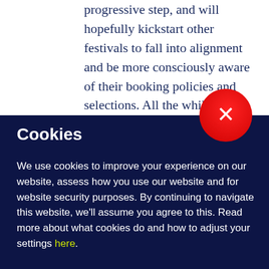progressive step, and will hopefully kickstart other festivals to fall into alignment and be more consciously aware of their booking policies and selections. All the while, we need to continue discussions and highlighting, educating
[Figure (other): Red circular close button with white X symbol, positioned at top right overlapping the dark navy cookie banner]
Cookies
We use cookies to improve your experience on our website, assess how you use our website and for website security purposes. By continuing to navigate this website, we'll assume you agree to this. Read more about what cookies do and how to adjust your settings here.